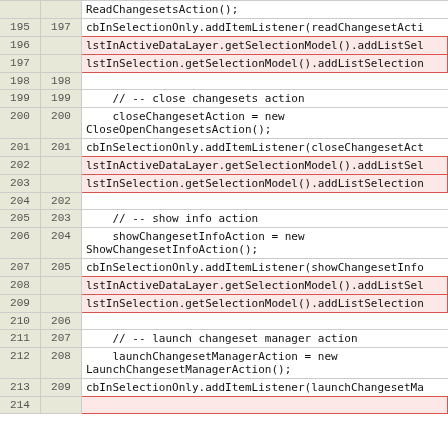| line_old | line_new | code |
| --- | --- | --- |
|  |  | ReadChangesetsAction(); |
| 195 | 197 | cbInSelectionOnly.addItemListener(readChangesetActi |
| 196 |  | lstInActiveDataLayer.getSelectionModel().addListSel |
| 197 |  | lstInSelection.getSelectionModel().addListSelection |
| 198 | 198 |  |
| 199 | 199 |     // -- close changesets action |
| 200 | 200 |     closeChangesetAction = new
    CloseOpenChangesetsAction(); |
| 201 | 201 | cbInSelectionOnly.addItemListener(closeChangesetAct |
| 202 |  | lstInActiveDataLayer.getSelectionModel().addListSel |
| 203 |  | lstInSelection.getSelectionModel().addListSelection |
| 204 | 202 |  |
| 205 | 203 |     // -- show info action |
| 206 | 204 |     showChangesetInfoAction = new
    ShowChangesetInfoAction(); |
| 207 | 205 | cbInSelectionOnly.addItemListener(showChangesetInfo |
| 208 |  | lstInActiveDataLayer.getSelectionModel().addListSel |
| 209 |  | lstInSelection.getSelectionModel().addListSelection |
| 210 | 206 |  |
| 211 | 207 |     // -- launch changeset manager action |
| 212 | 208 |     launchChangesetManagerAction = new
    LaunchChangesetManagerAction(); |
| 213 | 209 | cbInSelectionOnly.addItemListener(launchChangesetMa |
| 214 |  |  |